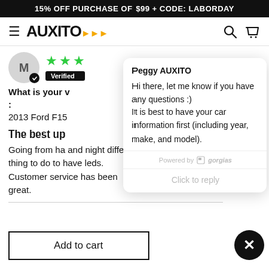15% OFF PURCHASE OF $99 + CODE: LABORDAY
[Figure (logo): AUXITO logo with hamburger menu, search and cart icons]
M (avatar with verified checkmark), 3 green stars, Verified
What is your v:
2013 Ford F15
The best up
Going from ha and night diffe thing to do to have leds. Customer service has been great.
[Figure (screenshot): Chat popup from Peggy AUXITO saying: Hi there, let me know if you have any questions :) It is best to have your car information first (including year, make, and model). Powered by gorgias. Click to reply.]
Add to cart